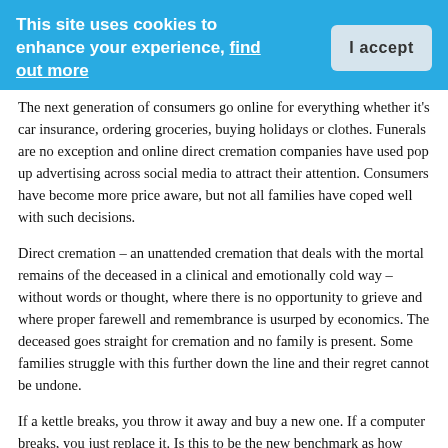This site uses cookies to enhance your experience, find out more | I accept
The next generation of consumers go online for everything whether it's car insurance, ordering groceries, buying holidays or clothes. Funerals are no exception and online direct cremation companies have used pop up advertising across social media to attract their attention. Consumers have become more price aware, but not all families have coped well with such decisions.
Direct cremation – an unattended cremation that deals with the mortal remains of the deceased in a clinical and emotionally cold way – without words or thought, where there is no opportunity to grieve and where proper farewell and remembrance is usurped by economics. The deceased goes straight for cremation and no family is present. Some families struggle with this further down the line and their regret cannot be undone.
If a kettle breaks, you throw it away and buy a new one. If a computer breaks, you just replace it. Is this to be the new benchmark as how society handles their deceased